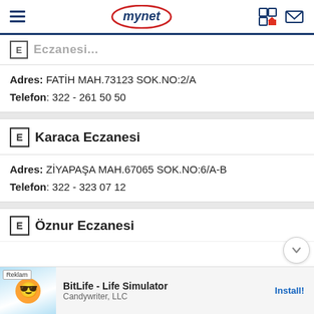mynet
Adres: FATİH MAH.73123 SOK.NO:2/A
Telefon: 322 - 261 50 50
E Karaca Eczanesi
Adres: ZİYAPAŞA MAH.67065 SOK.NO:6/A-B
Telefon: 322 - 323 07 12
E Öznur Eczanesi
Reklam BitLife - Life Simulator Candywriter, LLC Install!